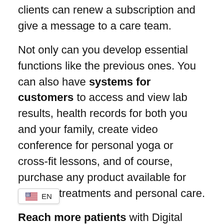clients can renew a subscription and give a message to a care team.
Not only can you develop essential functions like the previous ones. You can also have systems for customers to access and view lab results, health records for both you and your family, create video conference for personal yoga or cross-fit lessons, and of course, purchase any product available for medical treatments and personal care.
Reach more patients with Digital Marketing. Internet marketing can help increase awareness of your hospital, increase traffic to your website, and bring more patients to your Email marketing is an extremely [active strategy for hospitals to market...